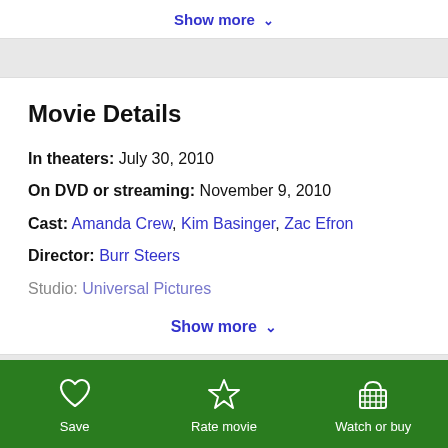Show more ▾
Movie Details
In theaters: July 30, 2010
On DVD or streaming: November 9, 2010
Cast: Amanda Crew, Kim Basinger, Zac Efron
Director: Burr Steers
Studio: Universal Pictures
Show more ▾
Save
Rate movie
Watch or buy